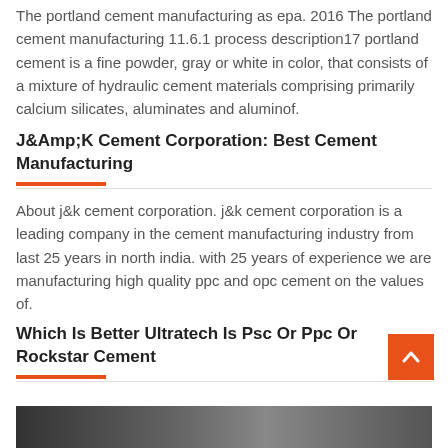The portland cement manufacturing as epa. 2016 the portland cement manufacturing 11.6.1 process description17 portland cement is a fine powder, gray or white in color, that consists of a mixture of hydraulic cement materials comprising primarily calcium silicates, aluminates and aluminof.
J&Amp;K Cement Corporation: Best Cement Manufacturing
About j&k cement corporation. j&k cement corporation is a leading company in the cement manufacturing industry from last 25 years in north india. with 25 years of experience we are manufacturing high quality ppc and opc cement on the values of.
Which Is Better Ultratech Is Psc Or Ppc Or Rockstar Cement
[Figure (photo): A photograph of cement manufacturing or related industrial scene, partially visible at bottom of page.]